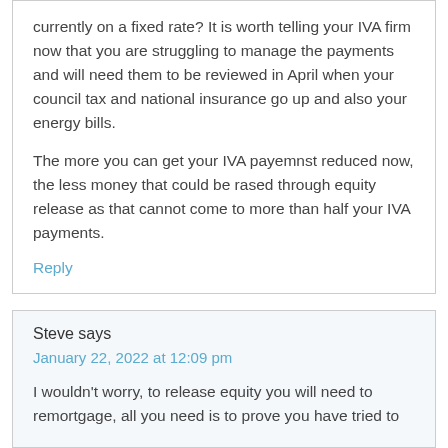currently on a fixed rate? It is worth telling your IVA firm now that you are struggling to manage the payments and will need them to be reviewed in April when your council tax and national insurance go up and also your energy bills.
The more you can get your IVA payemnst reduced now, the less money that could be rased through equity release as that cannot come to more than half your IVA payments.
Reply
Steve says
January 22, 2022 at 12:09 pm
I wouldn't worry, to release equity you will need to remortgage, all you need is to prove you have tried to